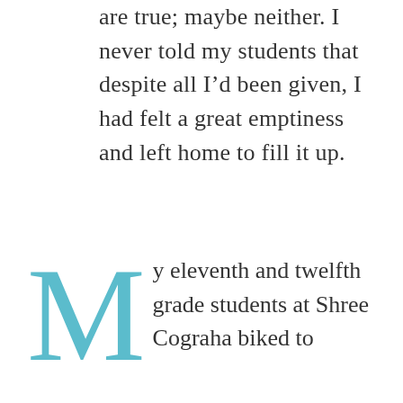are true; maybe neither. I never told my students that despite all I'd been given, I had felt a great emptiness and left home to fill it up.
My eleventh and twelfth grade students at Shree Cograha biked to